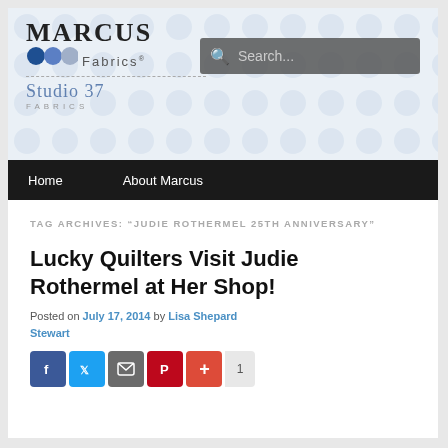[Figure (logo): Marcus Fabrics logo with Studio 37 Fabrics sub-brand, polka dot background, and search bar overlay]
Home   About Marcus
TAG ARCHIVES: “JUDIE ROTHERMEL 25TH ANNIVERSARY”
Lucky Quilters Visit Judie Rothermel at Her Shop!
Posted on July 17, 2014 by Lisa Shepard Stewart
[Figure (infographic): Social sharing icons: Facebook, Twitter, Email, Pinterest, Google+, and share count of 1]